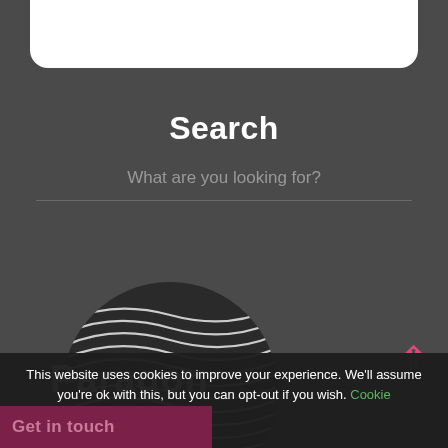[Figure (screenshot): White rounded rectangle card at the top of a dark mobile UI]
Search
What are you looking for?
[Figure (illustration): Circular vinyl record / wave pattern logo for Paragon Skills]
Paragon
This website uses cookies to improve your experience. We'll assume you're ok with this, but you can opt-out if you wish. Cookie settings ACCEPT
Get in touch